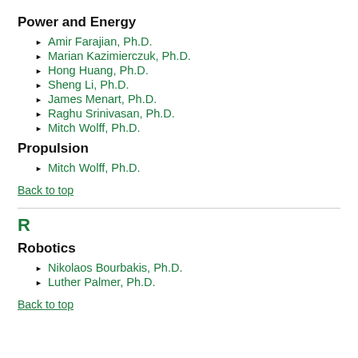Power and Energy
Amir Farajian, Ph.D.
Marian Kazimierczuk, Ph.D.
Hong Huang, Ph.D.
Sheng Li, Ph.D.
James Menart, Ph.D.
Raghu Srinivasan, Ph.D.
Mitch Wolff, Ph.D.
Propulsion
Mitch Wolff, Ph.D.
Back to top
R
Robotics
Nikolaos Bourbakis, Ph.D.
Luther Palmer, Ph.D.
Back to top